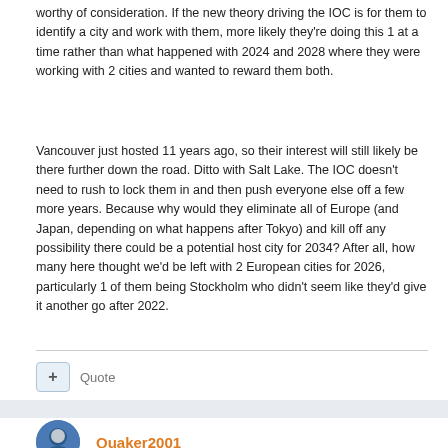worthy of consideration. If the new theory driving the IOC is for them to identify a city and work with them, more likely they're doing this 1 at a time rather than what happened with 2024 and 2028 where they were working with 2 cities and wanted to reward them both.
Vancouver just hosted 11 years ago, so their interest will still likely be there further down the road. Ditto with Salt Lake. The IOC doesn't need to rush to lock them in and then push everyone else off a few more years. Because why would they eliminate all of Europe (and Japan, depending on what happens after Tokyo) and kill off any possibility there could be a potential host city for 2034? After all, how many here thought we'd be left with 2 European cities for 2026, particularly 1 of them being Stockholm who didn't seem like they'd give it another go after 2022.
+ Quote
Quaker2001